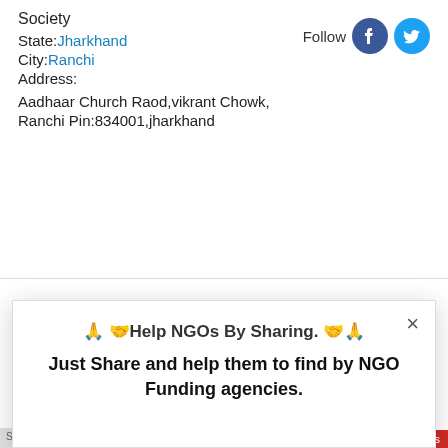Society
State: Jharkhand
City: Ranchi
Address:
Aadhaar Church Raod,vikrant Chowk,
Ranchi Pin:834001,jharkhand
Follow
🙏 🤝Help NGOs By Sharing. 🤝🙏
Just Share and help them to find by NGO Funding agencies.
[Figure (screenshot): Social sharing modal with Facebook, Twitter, LinkedIn, Pinterest, Email, and More buttons]
AddThis